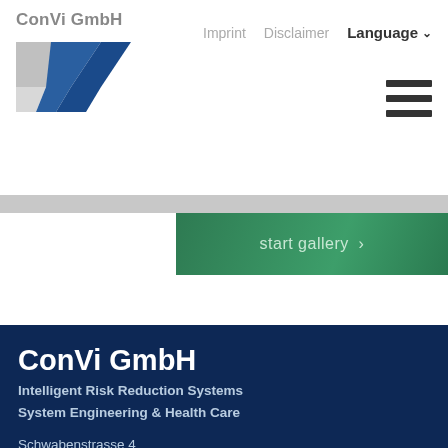ConVi GmbH
[Figure (logo): ConVi GmbH logo with grey and blue chevron/arrow shape]
Imprint   Disclaimer   Language
[Figure (other): Hamburger menu icon (three horizontal lines)]
[Figure (other): Green gradient banner with 'start gallery >' button]
ConVi GmbH
Intelligent Risk Reduction Systems
System Engineering & Health Care
Schwabenstrasse 4
87766 Memmingerberg / Germany
Phone: +49 (0)731 40 321 500
info@cvi-systems.com